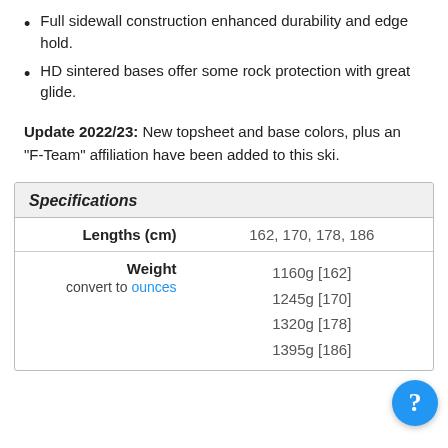Full sidewall construction enhanced durability and edge hold.
HD sintered bases offer some rock protection with great glide.
Update 2022/23: New topsheet and base colors, plus an "F-Team" affiliation have been added to this ski.
| Specifications |  |
| --- | --- |
| Lengths (cm) | 162, 170, 178, 186 |
| Weight
convert to ounces | 1160g [162]
1245g [170]
1320g [178]
1395g [186] |